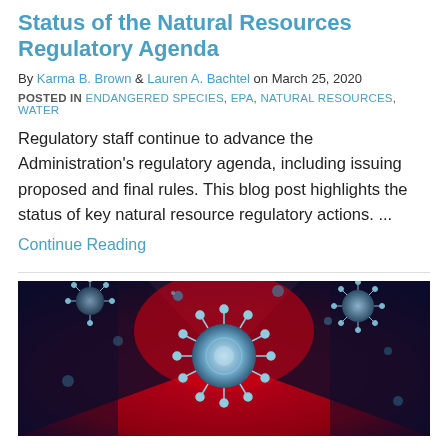Status of the Natural Resources Regulatory Agenda
By Karma B. Brown & Lauren A. Bachtel on March 25, 2020
POSTED IN ENDANGERED SPECIES, EPA, NATURAL RESOURCES, WATER
Regulatory staff continue to advance the Administration's regulatory agenda, including issuing proposed and final rules. This blog post highlights the status of key natural resource regulatory actions. ...
Continue Reading
[Figure (photo): Close-up illustration of coronavirus particles (COVID-19 virions) shown in blue/teal against a red and dark blue background, depicting a masked face silhouette.]